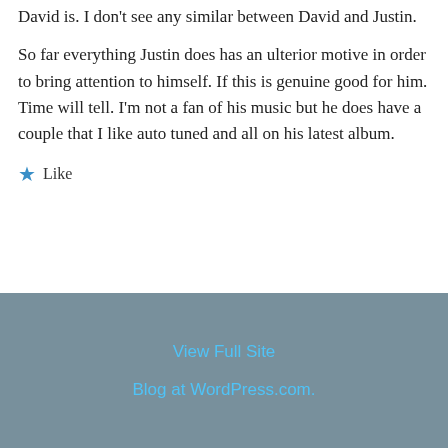David is. I don't see any similar between David and Justin.
So far everything Justin does has an ulterior motive in order to bring attention to himself. If this is genuine good for him. Time will tell. I'm not a fan of his music but he does have a couple that I like auto tuned and all on his latest album.
★ Like
View Full Site
Blog at WordPress.com.